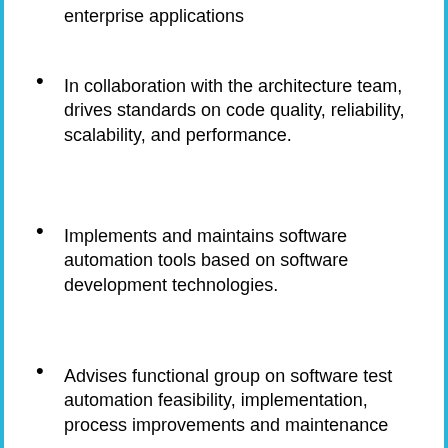enterprise applications
In collaboration with the architecture team, drives standards on code quality, reliability, scalability, and performance.
Implements and maintains software automation tools based on software development technologies.
Advises functional group on software test automation feasibility, implementation, process improvements and maintenance